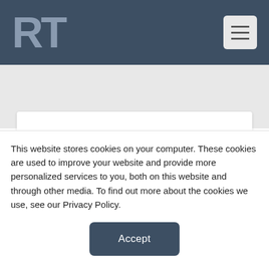RT
AARC Offers Pulmonary Rehabilitation Certificate
This website stores cookies on your computer. These cookies are used to improve your website and provide more personalized services to you, both on this website and through other media. To find out more about the cookies we use, see our Privacy Policy.
Accept